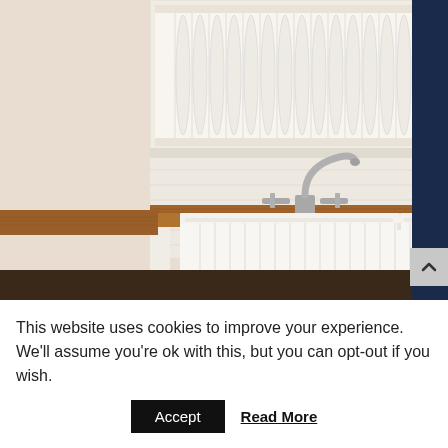[Figure (photo): A farmhouse kitchen with white cabinets, a plate rack above, a white double apron-front sink, butcher block wood countertop, a vintage-style silver faucet, and lemons on the counter.]
This website uses cookies to improve your experience. We'll assume you're ok with this, but you can opt-out if you wish.
Accept   Read More